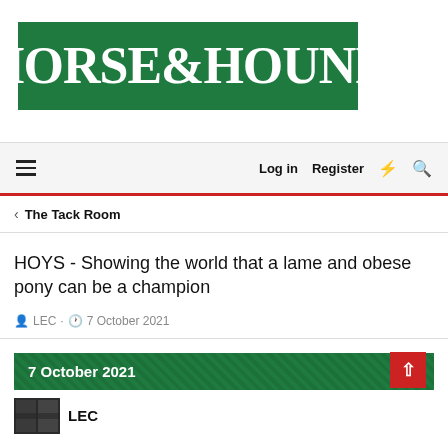[Figure (logo): Horse & Hound magazine logo: white bold serif text on green background]
Log in  Register
The Tack Room
HOYS - Showing the world that a lame and obese pony can be a champion
LEC · 7 October 2021
7 October 2021
[Figure (photo): Small dark avatar/thumbnail image of user LEC]